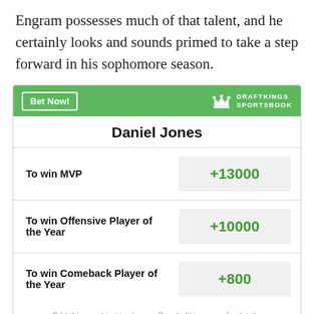Engram possesses much of that talent, and he certainly looks and sounds primed to take a step forward in his sophomore season.
| Daniel Jones |  |
| --- | --- |
| To win MVP | +13000 |
| To win Offensive Player of the Year | +10000 |
| To win Comeback Player of the Year | +800 |
Odds/Lines subject to change. See draftkings.com for details.
IN THIS STREAM